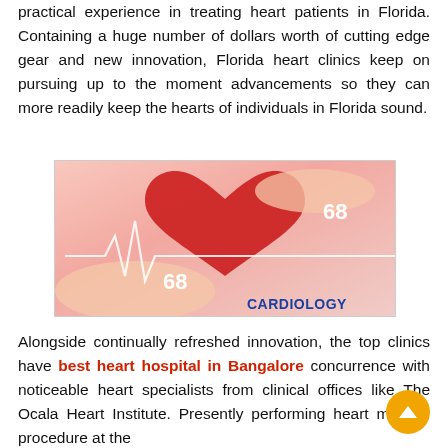practical experience in treating heart patients in Florida. Containing a huge number of dollars worth of cutting edge gear and new innovation, Florida heart clinics keep on pursuing up to the moment advancements so they can more readily keep the hearts of individuals in Florida sound.
[Figure (photo): Hands holding a red heart model with an ECG/heartbeat waveform overlay, stethoscope in background, displaying the number 68 twice, and the word CARDIOLOGY in blue bold text at the bottom right.]
Alongside continually refreshed innovation, the top clinics have best heart hospital in Bangalore concurrence with noticeable heart specialists from clinical offices like The Ocala Heart Institute. Presently performing heart medical procedure at the